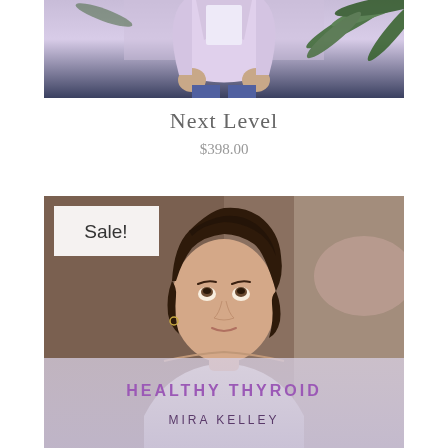[Figure (photo): Photo of a woman in a lavender jacket standing in front of green tropical plants, cropped to show torso and hands]
Next Level
$398.00
[Figure (photo): Photo of a woman with short dark hair looking upward, with a book cover overlay at the bottom reading 'HEALTHY THYROID' by 'MIRA KELLEY'. A 'Sale!' badge appears in the top left corner.]